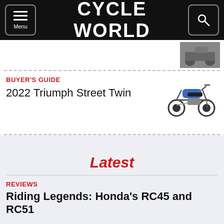CYCLE WORLD
[Figure (photo): Partial motorcycle thumbnail in top right strip]
BUYER'S GUIDE
2022 Triumph Street Twin
[Figure (photo): Blue Triumph Street Twin motorcycle side view]
Latest
REVIEWS
Riding Legends: Honda's RC45 and RC51